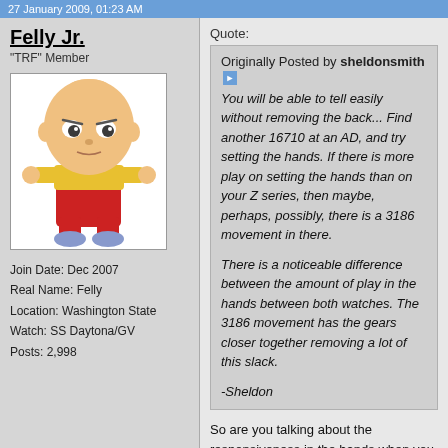27 January 2009, 01:23 AM
Felly Jr.
"TRF" Member
[Figure (illustration): Cartoon character Stewie Griffin from Family Guy, standing with arms crossed, wearing yellow shirt and red pants]
Join Date: Dec 2007
Real Name: Felly
Location: Washington State
Watch: SS Daytona/GV
Posts: 2,998
Quote:
Originally Posted by sheldonsmith
You will be able to tell easily without removing the back... Find another 16710 at an AD, and try setting the hands. If there is more play on setting the hands than on your Z series, then maybe, perhaps, possibly, there is a 3186 movement in there.

There is a noticeable difference between the amount of play in the hands between both watches. The 3186 movement has the gears closer together removing a lot of this slack.

-Sheldon
So are you talking about the responsiveness in the hands when you turn the crown to set them, like chain the action in place of free?